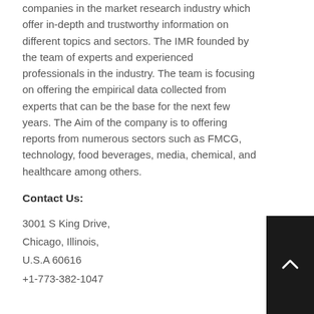companies in the market research industry which offer in-depth and trustworthy information on different topics and sectors. The IMR founded by the team of experts and experienced professionals in the industry. The team is focusing on offering the empirical data collected from experts that can be the base for the next few years. The Aim of the company is to offering reports from numerous sectors such as FMCG, technology, food beverages, media, chemical, and healthcare among others.
Contact Us:
3001 S King Drive,
Chicago, Illinois,
U.S.A 60616
+1-773-382-1047